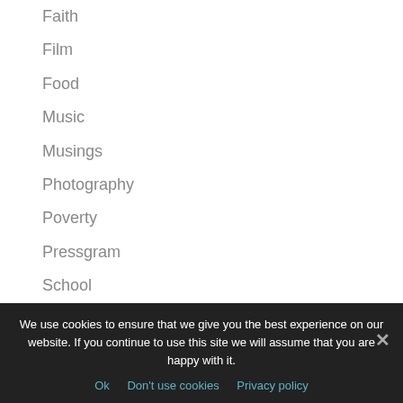Faith
Film
Food
Music
Musings
Photography
Poverty
Pressgram
School
Social Justice
Tech
We use cookies to ensure that we give you the best experience on our website. If you continue to use this site we will assume that you are happy with it.
Ok   Don't use cookies   Privacy policy